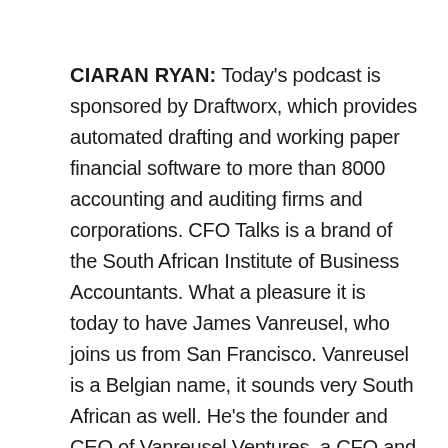CIARAN RYAN: Today's podcast is sponsored by Draftworx, which provides automated drafting and working paper financial software to more than 8000 accounting and auditing firms and corporations. CFO Talks is a brand of the South African Institute of Business Accountants. What a pleasure it is today to have James Vanreusel, who joins us from San Francisco. Vanreusel is a Belgian name, it sounds very South African as well. He's the founder and CEO of Vanreusel Ventures, a CFO and corporate consultancy based in San Francisco, mainly focusing on servicing